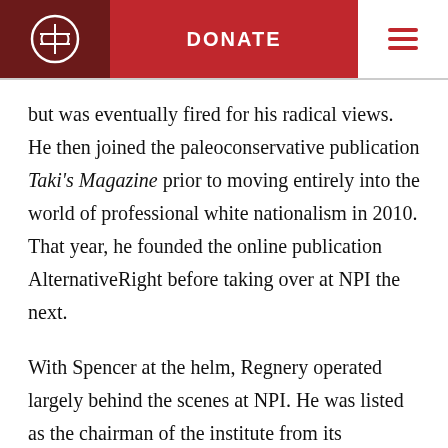DONATE
but was eventually fired for his radical views. He then joined the paleoconservative publication Taki’s Magazine prior to moving entirely into the world of professional white nationalism in 2010. That year, he founded the online publication AlternativeRight before taking over at NPI the next.
With Spencer at the helm, Regnery operated largely behind the scenes at NPI. He was listed as the chairman of the institute from its inception in 2005 through the beginning of 2009,